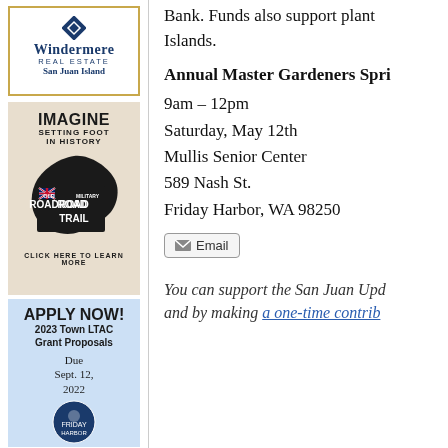[Figure (logo): Windermere Real Estate San Juan Island logo with blue diamond shape]
[Figure (illustration): Imagine Setting Foot In History — Old Military Road Trail advertisement with island map silhouette]
[Figure (infographic): Apply Now! 2023 Town LTAC Grant Proposals. Due Sept. 12, 2022 with Friday Harbor seal]
Bank. Funds also support plant Islands.
Annual Master Gardeners Spri
9am – 12pm
Saturday, May 12th
Mullis Senior Center
589 Nash St.
Friday Harbor, WA 98250
Email
You can support the San Juan Upd and by making a one-time contrib